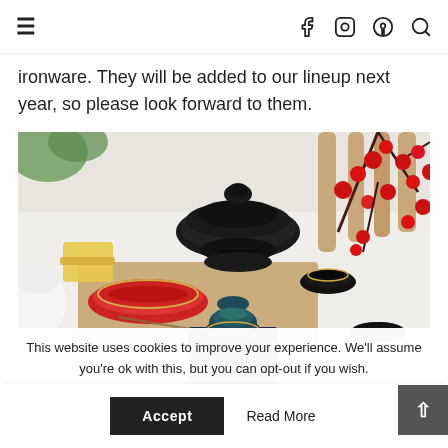≡  f  ⊙  ⊕  🔍
ironware. They will be added to our lineup next year, so please look forward to them.
[Figure (photo): A table setting with Japanese ceramic and lacquerware pieces including a black lidded bowl, red lacquer dish with gold accents, a dark ceramic sake vessel on a blue warmer, small gold-rimmed cups, a white vase, red floral branches, wooden chair in background.]
This website uses cookies to improve your experience. We'll assume you're ok with this, but you can opt-out if you wish.
Accept   Read More